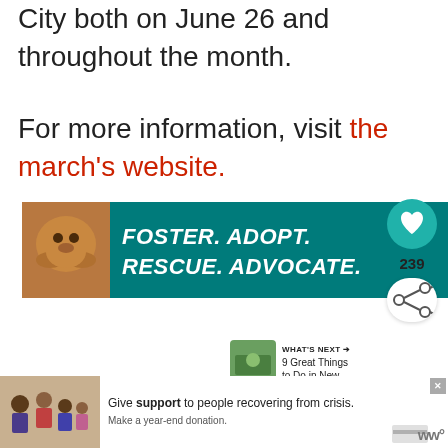City both on June 26 and throughout the month.
For more information, visit the march's website.
[Figure (photo): Advertisement banner: 'FOSTER. ADOPT. RESCUE. ADVOCATE.' on teal background with a dog image]
[Figure (infographic): Heart/like button (teal circle), count 239, and share button]
[Figure (infographic): WHAT'S NEXT panel: '9 Great Things to Do in New...' with thumbnail image]
[Figure (photo): Bottom advertisement: 'Give support to people recovering from crisis. Make a year-end donation.' with family photo]